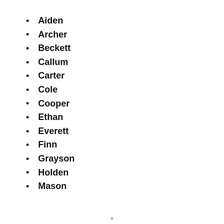Aiden
Archer
Beckett
Callum
Carter
Cole
Cooper
Ethan
Everett
Finn
Grayson
Holden
Mason
v